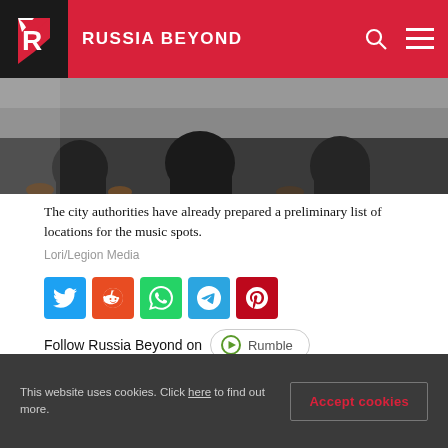RUSSIA BEYOND
[Figure (photo): People seated, photo cropped showing lower bodies and feet, dark clothing, blurred background]
The city authorities have already prepared a preliminary list of locations for the music spots.
Lori/Legion Media
[Figure (other): Social media sharing buttons: Twitter, Reddit, WhatsApp, Telegram, Pinterest]
Follow Russia Beyond on  Rumble
Buskers will only be allowed to play in 15 places on the network as of 2016.
This website uses cookies. Click here to find out more.
Accept cookies